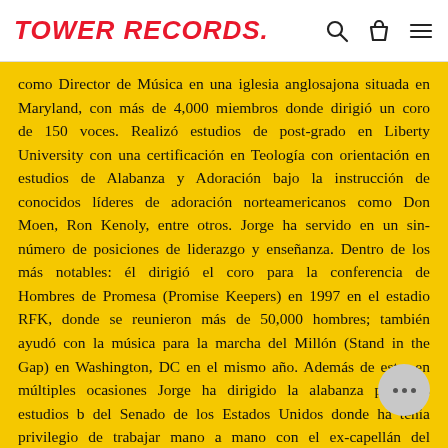TOWER RECORDS.
como Director de Música en una iglesia anglosajona situada en Maryland, con más de 4,000 miembros donde dirigió un coro de 150 voces. Realizó estudios de post-grado en Liberty University con una certificación en Teología con orientación en estudios de Alabanza y Adoración bajo la instrucción de conocidos líderes de adoración norteamericanos como Don Moen, Ron Kenoly, entre otros. Jorge ha servido en un sin-número de posiciones de liderazgo y enseñanza. Dentro de los más notables: él dirigió el coro para la conferencia de Hombres de Promesa (Promise Keepers) en 1997 en el estadio RFK, donde se reunieron más de 50,000 hombres; también ayudó con la música para la marcha del Millón (Stand in the Gap) en Washington, DC en el mismo año. Además de esto, en múltiples ocasiones Jorge ha dirigido la alabanza para los estudios b del Senado de los Estados Unidos donde ha tenia privilegio de trabajar mano a mano con el ex-capellán del Senado, Dr. Lloyd Ogilvie. Jorge es ministro